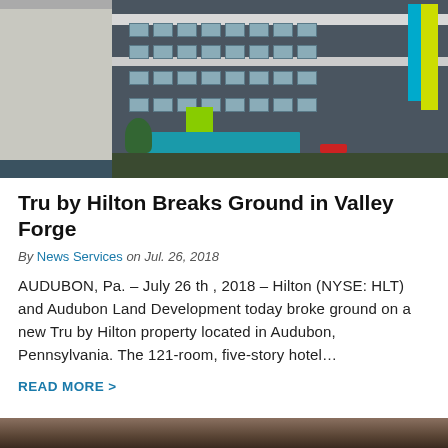[Figure (photo): Architectural rendering of a multi-story Tru by Hilton hotel building with colorful accent panels (blue, green, yellow, teal) and a red car parked in front, surrounded by trees and landscaping.]
Tru by Hilton Breaks Ground in Valley Forge
By News Services on Jul. 26, 2018
AUDUBON, Pa. – July 26 th , 2018 – Hilton (NYSE: HLT) and Audubon Land Development today broke ground on a new Tru by Hilton property located in Audubon, Pennsylvania. The 121-room, five-story hotel…
READ MORE >
[Figure (photo): Partial view of another article image at the bottom of the page — appears to be a building or outdoor scene.]